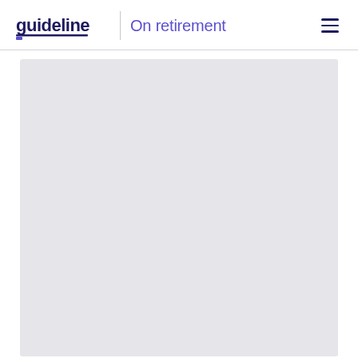guideline | On retirement
[Figure (other): Large light gray rectangular placeholder image area occupying most of the lower portion of the page]